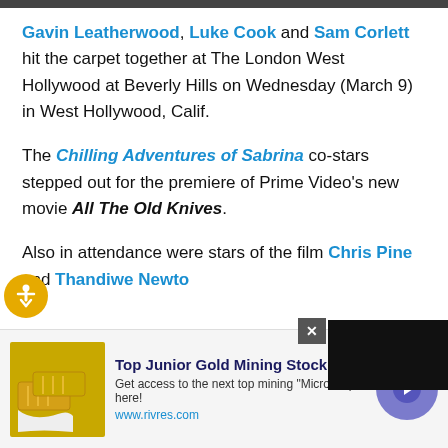Gavin Leatherwood, Luke Cook and Sam Corlett hit the carpet together at The London West Hollywood at Beverly Hills on Wednesday (March 9) in West Hollywood, Calif.
The Chilling Adventures of Sabrina co-stars stepped out for the premiere of Prime Video's new movie All The Old Knives.
Also in attendance were stars of the film Chris Pine and Thandiwe Newto...
[Figure (screenshot): An advertisement overlay with dark background on the right side of the screen and a close (X) button]
[Figure (infographic): Bottom advertisement banner: gold bars image, 'Top Junior Gold Mining Stock' headline, description text 'Get access to the next top mining Micro Cap here!', URL www.rivres.com, and a purple arrow button]